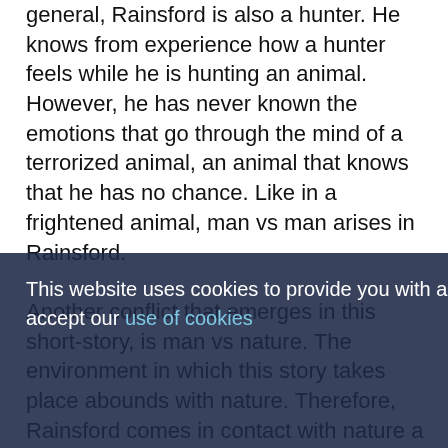general, Rainsford is also a hunter. He knows from experience how a hunter feels while he is hunting an animal. However, he has never known the emotions that go through the mind of a terrorized animal, an animal that knows that he has no chance. Like in a frightened animal, man vs man arises in Rainsford.
Another conflict that emerges in this short-story, is man vs nature. The environment in which this story takes place abounds with nature. Therefore, Rainsford comes in contact with nature a lot. That continuous contact often creates conflict. After falling off the yacht, Rainsford descends into the water surrounding the island. Since, Rainsford has fallen in the water at night, he was stranded in the ocean during high tide. He has to fight against the pertinacious waves, in hopes of reaching dry land on the not so distant island. Moments before slipping off the yacht, Rainsford had a conversation with his partner, Whitney. Whitney is observative about what a hunted animal experiences. On
This website uses cookies to provide you with a great user experience. By using it, you accept our use of cookies